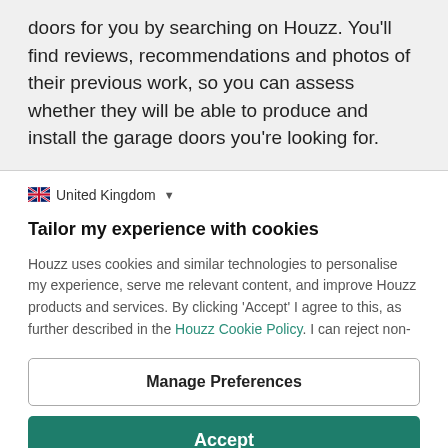doors for you by searching on Houzz. You'll find reviews, recommendations and photos of their previous work, so you can assess whether they will be able to produce and install the garage doors you're looking for.
United Kingdom
Tailor my experience with cookies
Houzz uses cookies and similar technologies to personalise my experience, serve me relevant content, and improve Houzz products and services. By clicking 'Accept' I agree to this, as further described in the Houzz Cookie Policy. I can reject non-
Manage Preferences
Accept